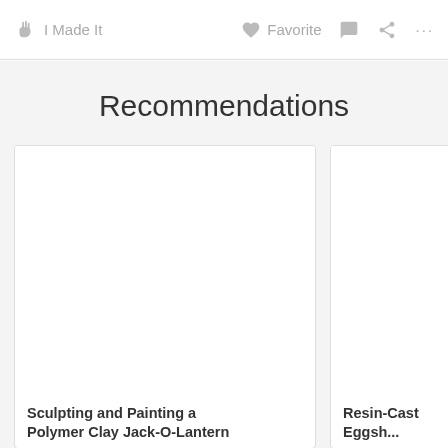I Made It   Favorite   ...
Recommendations
[Figure (screenshot): Blank white card image placeholder for 'Sculpting and Painting a Polymer Clay Jack-O-Lantern']
Sculpting and Painting a Polymer Clay Jack-O-Lantern
[Figure (screenshot): Blank white card image placeholder for 'Resin-Cast Eggsh...']
Resin-Cast Eggsh...